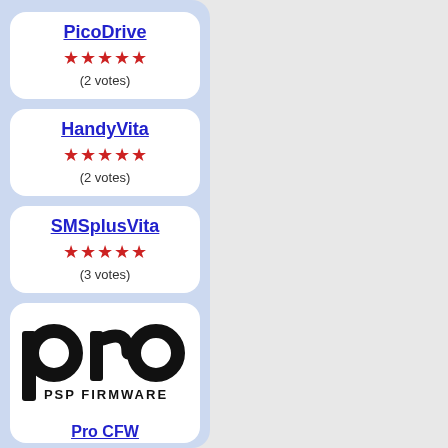PicoDrive ★★★★★ (2 votes)
HandyVita ★★★★★ (2 votes)
SMSplusVita ★★★★★ (3 votes)
[Figure (logo): PRO PSP FIRMWARE logo in black text]
Pro CFW